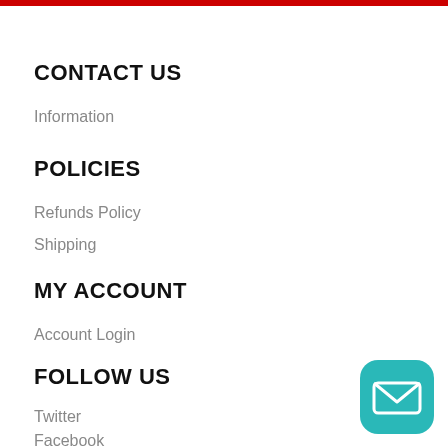CONTACT US
Information
POLICIES
Refunds Policy
Shipping
MY ACCOUNT
Account Login
FOLLOW US
Twitter
Facebook
Youtube
[Figure (illustration): Teal rounded square button with white envelope/mail icon]